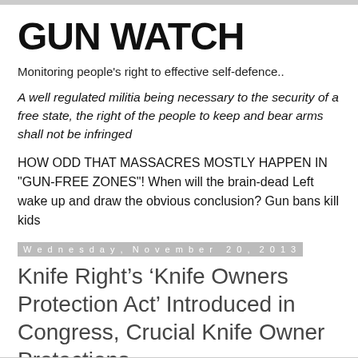GUN WATCH
Monitoring people's right to effective self-defence..
A well regulated militia being necessary to the security of a free state, the right of the people to keep and bear arms shall not be infringed
HOW ODD THAT MASSACRES MOSTLY HAPPEN IN "GUN-FREE ZONES"! When will the brain-dead Left wake up and draw the obvious conclusion? Gun bans kill kids
Wednesday, November 20, 2013
Knife Right’s ‘Knife Owners Protection Act’ Introduced in Congress, Crucial Knife Owner Protections